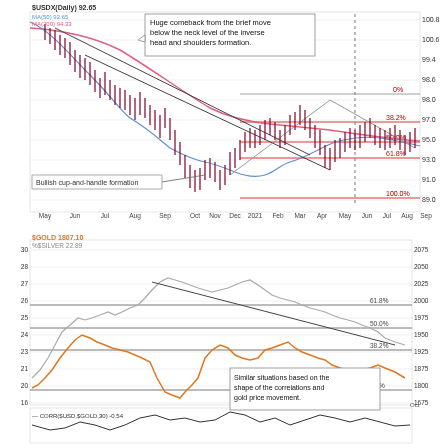[Figure (continuous-plot): Daily chart of the US Dollar Index (DXY) from May 2020 to Sep/Oct 2021. Shows candlestick price action with MA(50) in blue and MA(200) in red/pink. Annotations include: a callout 'Huge comeback from the brief move below the neck level of the inverse head and shoulders formation.', a label 'Bullish cup-and-handle formation', Fibonacci retracement levels (38.2%, 50.0%, 61.8%, 100.0%), descending channel lines, and a dashed vertical line. Price range approximately 89.0-100.8.]
[Figure (continuous-plot): Chart showing Gold (orange line, left axis ~16-30) and Silver (gray line) prices from May 2020 to Oct 2021, with Fibonacci retracement levels (0.0%, 38.2%, 50.0%, 61.8%) and a callout: 'Similar situations based on the shape of the correlations and gold price movement.' Below is the correlation indicator CORR($USD,$GOLD,30) = -0.54.]